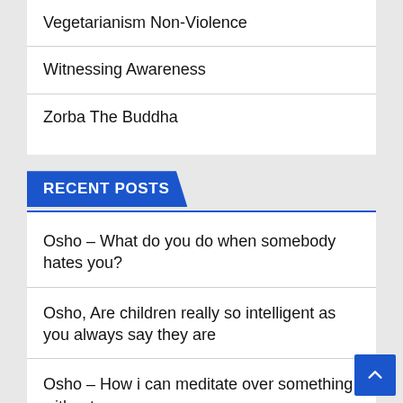Vegetarianism Non-Violence
Witnessing Awareness
Zorba The Buddha
RECENT POSTS
Osho – What do you do when somebody hates you?
Osho, Are children really so intelligent as you always say they are
Osho – How i can meditate over something without using my mind